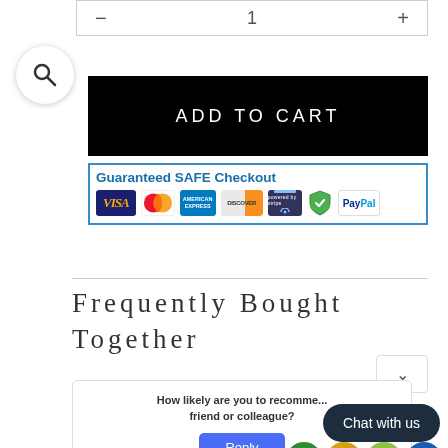[Figure (screenshot): Quantity selector bar showing minus, 1, plus controls]
[Figure (illustration): Circular search icon button]
ADD TO CART
[Figure (infographic): Guaranteed SAFE Checkout banner with payment logos: VISA, Mastercard, American Express, Discover, Stripe, Shield, PayPal]
Frequently Bought Together
How likely are you to recommend us to a friend or colleague?
Chat with us